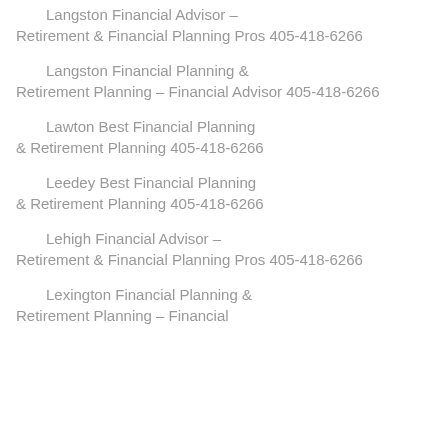Langston Financial Advisor – Retirement & Financial Planning Pros 405-418-6266
Langston Financial Planning & Retirement Planning – Financial Advisor 405-418-6266
Lawton Best Financial Planning & Retirement Planning 405-418-6266
Leedey Best Financial Planning & Retirement Planning 405-418-6266
Lehigh Financial Advisor – Retirement & Financial Planning Pros 405-418-6266
Lexington Financial Planning & Retirement Planning – Financial